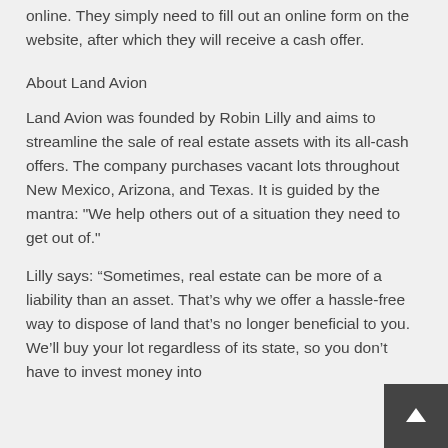Prospective clients can have their property valued online. They simply need to fill out an online form on the website, after which they will receive a cash offer.
About Land Avion
Land Avion was founded by Robin Lilly and aims to streamline the sale of real estate assets with its all-cash offers. The company purchases vacant lots throughout New Mexico, Arizona, and Texas. It is guided by the mantra: "We help others out of a situation they need to get out of."
Lilly says: “Sometimes, real estate can be more of a liability than an asset. That’s why we offer a hassle-free way to dispose of land that’s no longer beneficial to you. We’ll buy your lot regardless of its state, so you don’t have to invest money into